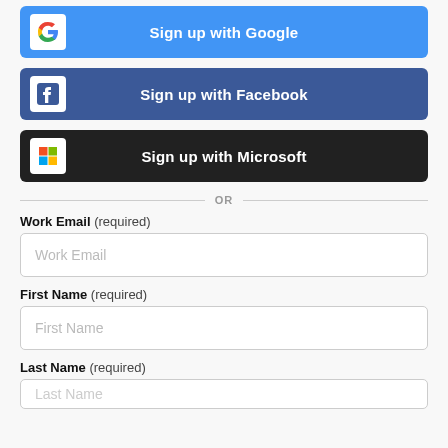[Figure (other): Sign up with Google button - blue rounded rectangle with Google G icon and white text]
[Figure (other): Sign up with Facebook button - Facebook blue rounded rectangle with Facebook icon and white text]
[Figure (other): Sign up with Microsoft button - dark/black rounded rectangle with Microsoft logo and white text]
OR
Work Email (required)
[Figure (other): Work Email input field with placeholder text 'Work Email']
First Name (required)
[Figure (other): First Name input field with placeholder text 'First Name']
Last Name (required)
[Figure (other): Last Name input field with placeholder text 'Last Name' (partially visible)]